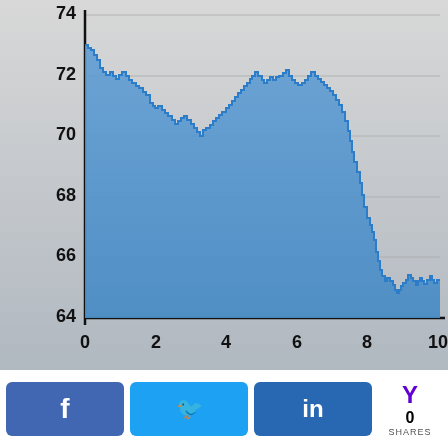[Figure (continuous-plot): Area/line chart showing a financial price series declining from approximately 73 to 65 over the range x=0 to x=10. Y-axis labels: 64, 66, 68, 70, 72, 74. X-axis labels: 0, 2, 4, 6, 8, 10. The line starts near 73, oscillates around 71-72 through mid-chart, then drops sharply around x=8.5 to ~65, ending around 65-65.5.]
[Figure (infographic): Social sharing bar with Facebook, Twitter, LinkedIn buttons and Yahoo shares count showing 0 SHARES]